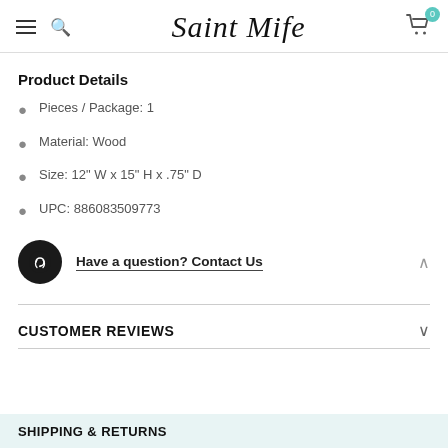Saint Mife
Product Details
Pieces / Package: 1
Material: Wood
Size: 12" W x 15" H x .75" D
UPC: 886083509773
Have a question? Contact Us
CUSTOMER REVIEWS
SHIPPING & RETURNS